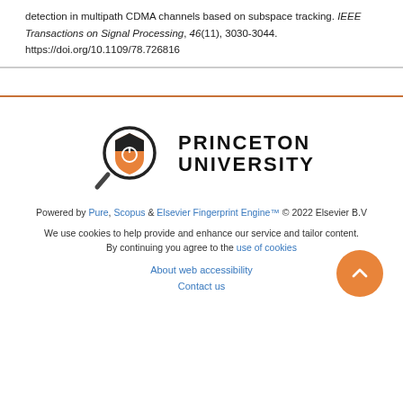detection in multipath CDMA channels based on subspace tracking. IEEE Transactions on Signal Processing, 46(11), 3030-3044. https://doi.org/10.1109/78.726816
[Figure (logo): Princeton University logo with magnifying glass and shield icon, text reading PRINCETON UNIVERSITY]
Powered by Pure, Scopus & Elsevier Fingerprint Engine™ © 2022 Elsevier B.V
We use cookies to help provide and enhance our service and tailor content. By continuing you agree to the use of cookies
About web accessibility
Contact us